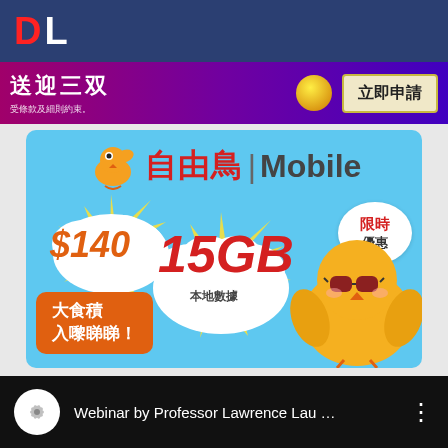[Figure (screenshot): Top navigation bar with DL logo in white on dark blue background]
[Figure (screenshot): Purple/magenta banner advertisement with Chinese text and '立即申請' (Apply Now) button]
[Figure (infographic): 自由鳥 Mobile advertisement on light blue background showing $140 plan with 15GB local data, limited time offer, with cartoon chick character]
[Figure (screenshot): YouTube video bar showing 'Webinar by Professor Lawrence Lau ...' with channel icon and options menu]